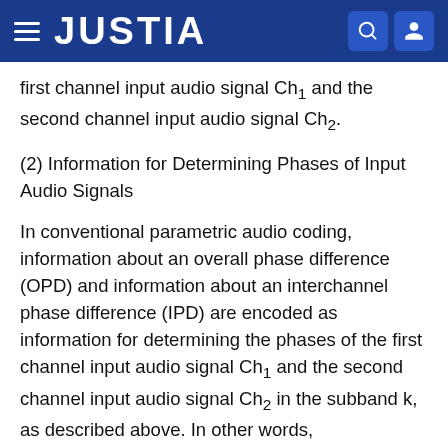JUSTIA
first channel input audio signal Ch₁ and the second channel input audio signal Ch₂.
(2) Information for Determining Phases of Input Audio Signals
In conventional parametric audio coding, information about an overall phase difference (OPD) and information about an interchannel phase difference (IPD) are encoded as information for determining the phases of the first channel input audio signal Ch₁ and the second channel input audio signal Ch₂ in the subband k, as described above. In other words, conventionally, information about the OPD is generated by calculating a phase difference between a first mono-audio signal BM₁, which is generated by combining the first channel input audio signal Ch₁ and the second channel input audio signal Ch₂, though...